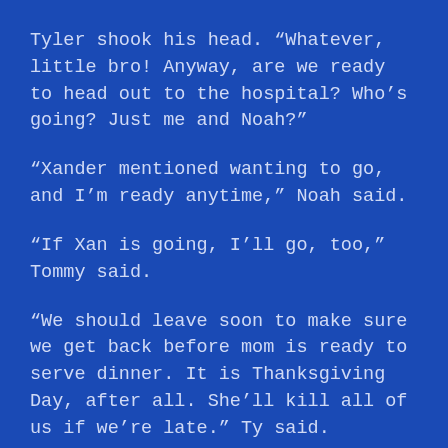Tyler shook his head. “Whatever, little bro! Anyway, are we ready to head out to the hospital? Who’s going? Just me and Noah?”
“Xander mentioned wanting to go, and I’m ready anytime,” Noah said.
“If Xan is going, I’ll go, too,” Tommy said.
“We should leave soon to make sure we get back before mom is ready to serve dinner. It is Thanksgiving Day, after all. She’ll kill all of us if we’re late.” Ty said.
Tommy laughed at that remark. “You’ll